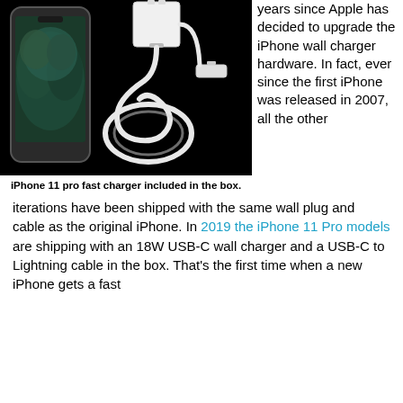[Figure (photo): iPhone 11 Pro shown alongside a USB-C wall charger and USB-C to Lightning cable coiled on a black background.]
iPhone 11 pro fast charger included in the box.
years since Apple has decided to upgrade the iPhone wall charger hardware. In fact, ever since the first iPhone was released in 2007, all the other iterations have been shipped with the same wall plug and cable as the original iPhone. In 2019 the iPhone 11 Pro models are shipping with an 18W USB-C wall charger and a USB-C to Lightning cable in the box. That's the first time when a new iPhone gets a fast
since the first iPhone was released in 2007, all the other iterations have been shipped with the same wall plug and cable as the original iPhone. In 2019 the iPhone 11 Pro models are shipping with an 18W USB-C wall charger and a USB-C to Lightning cable in the box. That's the first time when a new iPhone gets a fast